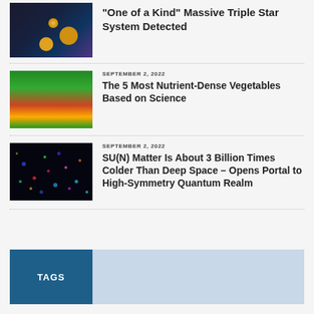[Figure (photo): Galaxy/space image showing stars]
“One of a Kind” Massive Triple Star System Detected
[Figure (photo): Vegetable market shelves with colorful produce]
SEPTEMBER 2, 2022
The 5 Most Nutrient-Dense Vegetables Based on Science
[Figure (photo): Quantum matter visualization with colorful particles on dark background]
SEPTEMBER 2, 2022
SU(N) Matter Is About 3 Billion Times Colder Than Deep Space – Opens Portal to High-Symmetry Quantum Realm
TAGS